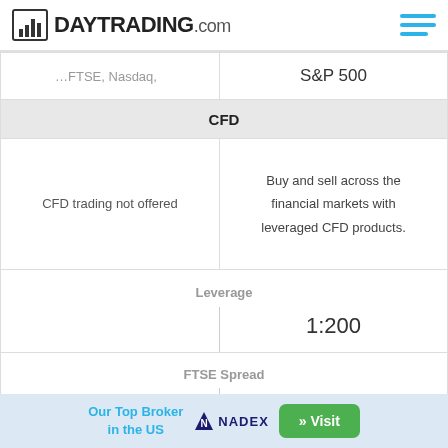DAYTRADING.com
|  | FTSE, S&P 500 |
| --- | --- |
|  | S&P 500 |
| CFD | CFD |
| CFD trading not offered | Buy and sell across the financial markets with leveraged CFD products. |
| Leverage | 1:200 |
| FTSE Spread | 0.84 |
| GBPUSD Spread | 0.64 |